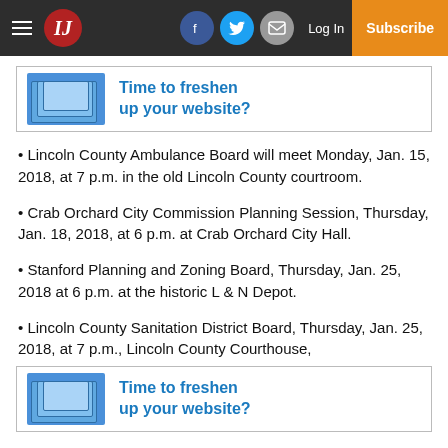IJ — Log In | Subscribe
[Figure (infographic): Advertisement banner: laptop/device stack graphic with text 'Time to freshen up your website?']
Lincoln County Ambulance Board will meet Monday, Jan. 15, 2018, at 7 p.m. in the old Lincoln County courtroom.
Crab Orchard City Commission Planning Session, Thursday, Jan. 18, 2018, at 6 p.m. at Crab Orchard City Hall.
Stanford Planning and Zoning Board, Thursday, Jan. 25, 2018 at 6 p.m. at the historic L & N Depot.
Lincoln County Sanitation District Board, Thursday, Jan. 25, 2018, at 7 p.m., Lincoln County Courthouse,
[Figure (infographic): Advertisement banner: laptop/device stack graphic with text 'Time to freshen up your website?']